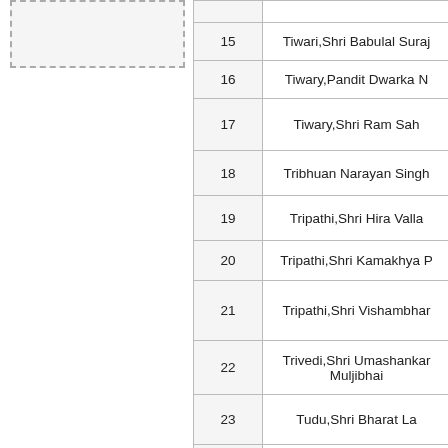[Figure (other): Dashed border box placeholder on left panel]
| # | Name |
| --- | --- |
| 15 | Tiwari,Shri Babulal Suraj |
| 16 | Tiwary,Pandit Dwarka N |
| 17 | Tiwary,Shri Ram Sah |
| 18 | Tribhuan Narayan Singh |
| 19 | Tripathi,Shri Hira Valla |
| 20 | Tripathi,Shri Kamakhya P |
| 21 | Tripathi,Shri Vishambhar |
| 22 | Trivedi,Shri Umashankar Muljibhai |
| 23 | Tudu,Shri Bharat La |
| 24 | Tulsidas Kilachand,Sh |
| 25 | Tyagi,Shri Mahavir |